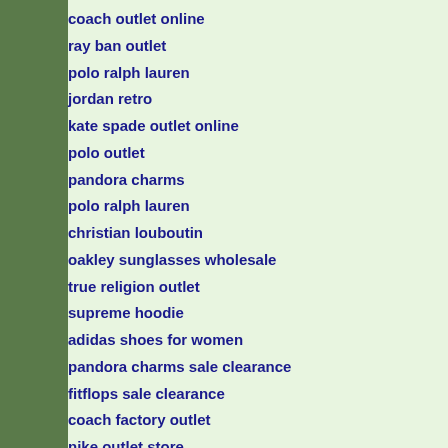coach outlet online
ray ban outlet
polo ralph lauren
jordan retro
kate spade outlet online
polo outlet
pandora charms
polo ralph lauren
christian louboutin
oakley sunglasses wholesale
true religion outlet
supreme hoodie
adidas shoes for women
pandora charms sale clearance
fitflops sale clearance
coach factory outlet
nike outlet store